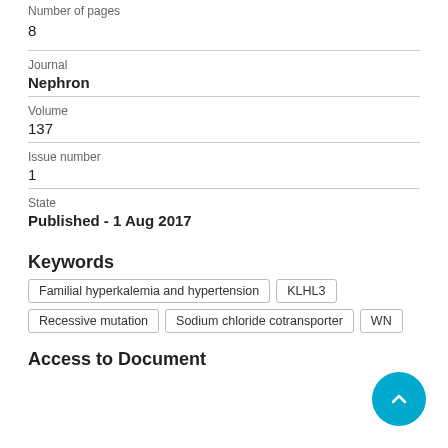Number of pages
8
Journal
Nephron
Volume
137
Issue number
1
State
Published - 1 Aug 2017
Keywords
Familial hyperkalemia and hypertension
KLHL3
Recessive mutation
Sodium chloride cotransporter
WN
Access to Document